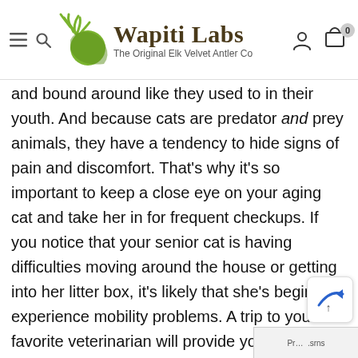[Figure (logo): Wapiti Labs logo with elk antler graphic, site name 'Wapiti Labs', tagline 'The Original Elk Velvet Antler Co', hamburger menu, search icon, user icon, and cart icon with badge showing 0.]
and bound around like they used to in their youth. And because cats are predator and prey animals, they have a tendency to hide signs of pain and discomfort. That's why it's so important to keep a close eye on your aging cat and take her in for frequent checkups. If you notice that your senior cat is having difficulties moving around the house or getting into her litter box, it's likely that she's beginning experience mobility problems. A trip to your favorite veterinarian will provide you with the resources you need to manage this perfectly natural change. If you're concerned about the mobility of your a... not then don't hesitate to talk to your veterinarian...